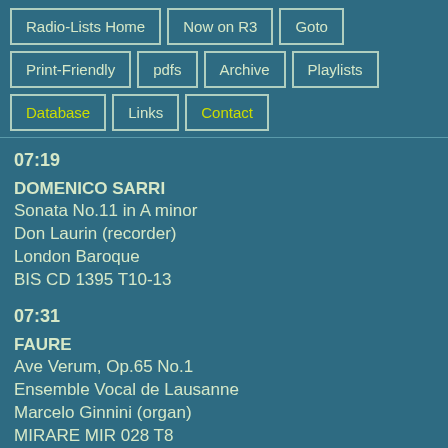Radio-Lists Home
Now on R3
Goto
Print-Friendly
pdfs
Archive
Playlists
Database
Links
Contact
07:19
DOMENICO SARRI
Sonata No.11 in A minor
Don Laurin (recorder)
London Baroque
BIS CD 1395 T10-13
07:31
FAURE
Ave Verum, Op.65 No.1
Ensemble Vocal de Lausanne
Marcelo Ginnini (organ)
MIRARE MIR 028 T8